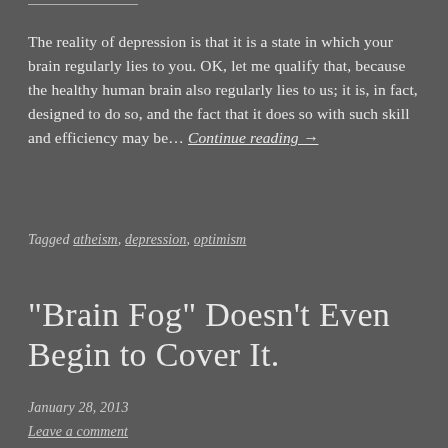The reality of depression is that it is a state in which your brain regularly lies to you. OK, let me qualify that, because the healthy human brain also regularly lies to us; it is, in fact, designed to do so, and the fact that it does so with such skill and efficiency may be… Continue reading →
Tagged atheism, depression, optimism
“Brain Fog” Doesn’t Even Begin to Cover It.
January 28, 2013
Leave a comment